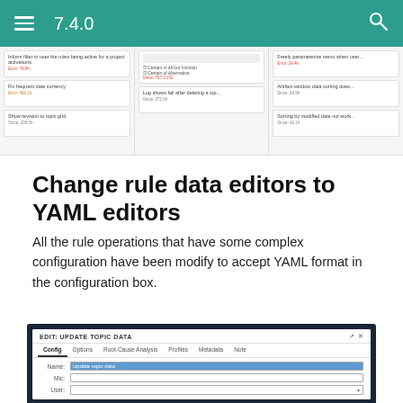7.4.0
[Figure (screenshot): Screenshot showing a kanban-style board with multiple columns of issue cards, each card showing a title and metadata labels in red/orange text.]
Change rule data editors to YAML editors
All the rule operations that have some complex configuration have been modify to accept YAML format in the configuration box.
[Figure (screenshot): Screenshot of a dialog box titled 'EDIT: UPDATE TOPIC DATA' with tabs: Config, Options, Root-Cause Analysis, Profiles, Metadata, Note. The Config tab is active and shows form fields for Name (filled with 'Update topic data' highlighted in blue), Mic, and User.]